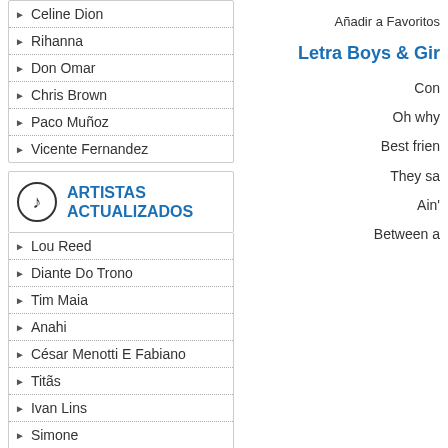Celine Dion
Rihanna
Don Omar
Chris Brown
Paco Muñoz
Vicente Fernandez
ARTISTAS ACTUALIZADOS
Lou Reed
Diante Do Trono
Tim Maia
Anahi
César Menotti E Fabiano
Titãs
Ivan Lins
Simone
Chet Faker
Lila Downs
Añadir a Favoritos
Letra Boys & Gir
Con
Oh why
Best frien
They sa
Ain'
Between a